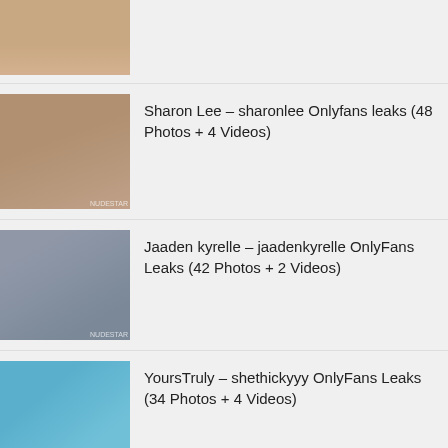[Figure (photo): Partial thumbnail image, cropped at top]
Sharon Lee – sharonlee Onlyfans leaks (48 Photos + 4 Videos)
Jaaden kyrelle – jaadenkyrelle OnlyFans Leaks (42 Photos + 2 Videos)
YoursTruly – shethickyyy OnlyFans Leaks (34 Photos + 4 Videos)
blackmango.mary OnlyFans Leaks (49 Photos + 3 Videos)